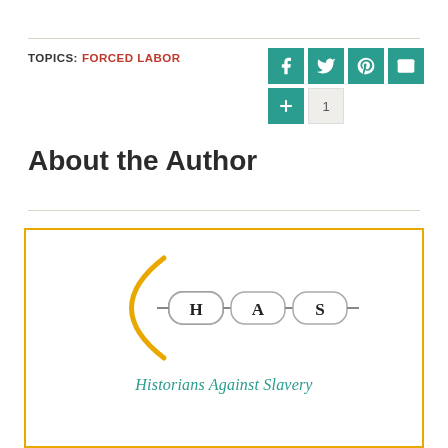TOPICS: FORCED LABOR
[Figure (logo): Social media sharing buttons: Facebook, Twitter, Pinterest, Email icons in teal, plus a +1 counter button]
About the Author
[Figure (logo): Historians Against Slavery (HAS) logo: chain link logo with H, A, S letters in chain links, golden arc, with text 'Historians Against Slavery' below in teal]